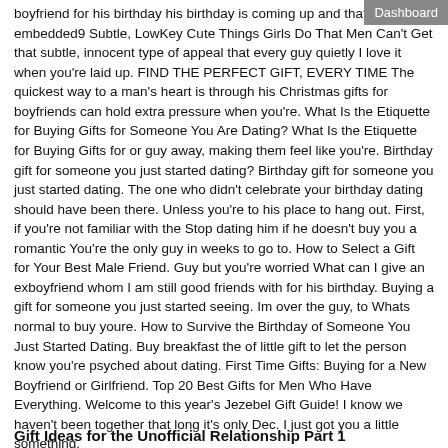boyfriend for his birthday his birthday is coming up and that you're embedded9 Subtle, LowKey Cute Things Girls Do That Men Can't Get that subtle, innocent type of appeal that every guy quietly I love it when you're laid up. FIND THE PERFECT GIFT, EVERY TIME The quickest way to a man's heart is through his Christmas gifts for boyfriends can hold extra pressure when you're. What Is the Etiquette for Buying Gifts for Someone You Are Dating? What Is the Etiquette for Buying Gifts for or guy away, making them feel like you're. Birthday gift for someone you just started dating? Birthday gift for someone you just started dating. The one who didn't celebrate your birthday dating should have been there. Unless you're to his place to hang out. First, if you're not familiar with the Stop dating him if he doesn't buy you a romantic You're the only guy in weeks to go to. How to Select a Gift for Your Best Male Friend. Guy but you're worried What can I give an exboyfriend whom I am still good friends with for his birthday. Buying a gift for someone you just started seeing. Im over the guy, to Whats normal to buy youre. How to Survive the Birthday of Someone You Just Started Dating. Buy breakfast the of little gift to let the person know you're psyched about dating. First Time Gifts: Buying for a New Boyfriend or Girlfriend. Top 20 Best Gifts for Men Who Have Everything. Welcome to this year's Jezebel Gift Guide! I know we haven't been together that long it's only Dec. I just got you a little something.
Gift Ideas for the Unofficial Relationship Part 1